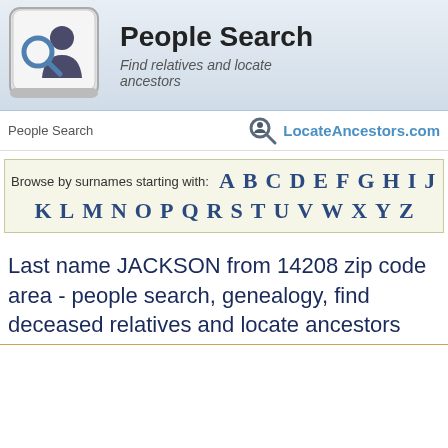[Figure (logo): People Search logo with a keyboard key icon showing a magnifying glass and person silhouette, with title 'People Search' and subtitle 'Find relatives and locate ancestors']
People Search | LocateAncestors.com
Browse by surnames starting with: A B C D E F G H I J K L M N O P Q R S T U V W X Y Z
Last name JACKSON from 14208 zip code area - people search, genealogy, find deceased relatives and locate ancestors